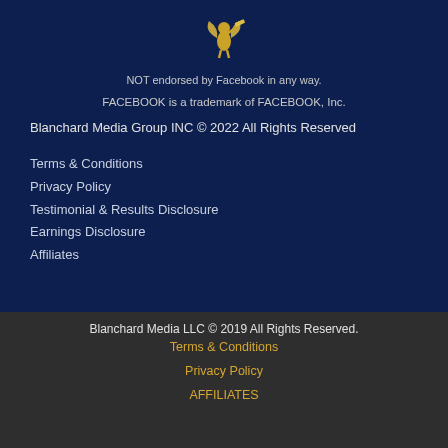[Figure (logo): Golden angel/cupid logo on dark navy background]
NOT endorsed by Facebook in any way.
FACEBOOK is a trademark of FACEBOOK, Inc.
Blanchard Media Group INC © 2022 All Rights Reserved
Terms & Conditions
Privacy Policy
Testimonial & Results Disclosure
Earnings Disclosure
Affiliates
Blanchard Media LLC © 2019 All Rights Reserved.
Terms & Conditions
Privacy Policy
AFFILIATES